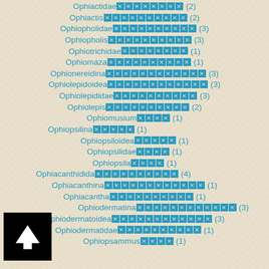Ophiactidae□□□□□□□□ (2)
Ophiactis□□□□□□□□□□ (2)
Ophiopholidae□□□□□□□□□□ (3)
Ophiopholis□□□□□□□□□□ (3)
Ophiotrichidae□□□□□□□□ (1)
Ophiomaza□□□□□□□□□□ (1)
Ophionereidina□□□□□□□□□□□□ (3)
Ophiolepidoidea□□□□□□□□□□□□ (3)
Ophiolepididae□□□□□□□□□□ (3)
Ophiolepis□□□□□□□□□□ (2)
Ophiomusium□□□□ (1)
Ophiopsilina□□□□□ (1)
Ophiopsiloidea□□□□□ (1)
Ophiopsilidae□□□□ (1)
Ophiopsila□□□□ (1)
Ophiacanthidida□□□□□□□□□□ (4)
Ophiacanthina□□□□□□□□□□□□ (1)
Ophiacantha□□□□□□□□□□ (1)
Ophiodermatina□□□□□□□□□□□□ (3)
Ophiodermatoidea□□□□□□□□□□□□ (3)
Ophiodermatidae□□□□□□□□□□ (1)
Ophiopsammus□□□□ (1)
[Figure (other): Black square button with white upward-pointing arrow icon (back-to-top navigation button)]